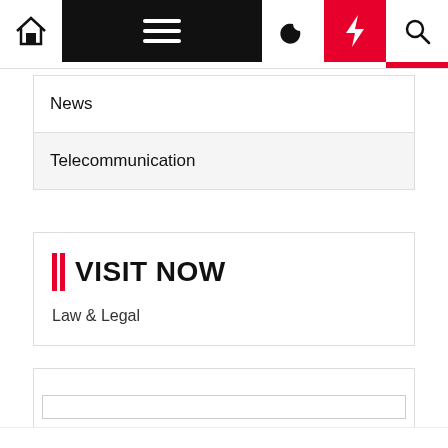Navigation bar with home, menu, moon, bolt, search icons
News
Telecommunication
| | VISIT NOW
Law & Legal